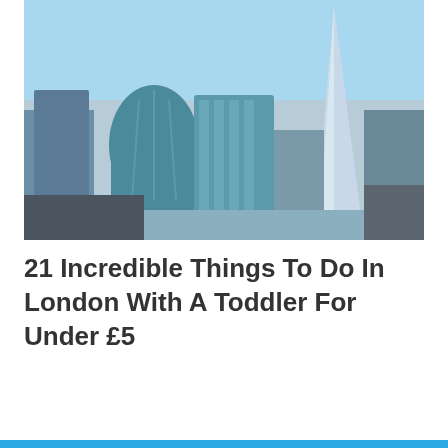[Figure (photo): Aerial/street view of modern London buildings including the Shard skyscraper against a blue sky]
21 Incredible Things To Do In London With A Toddler For Under £5
[Figure (screenshot): Modal popup overlay with blue top bar, close button (circled X), heading 'Stay Connected!', descriptive text, and a blue SUBSCRIBE button]
Stay Connected!
Get amazing special offers and the latest news and info direct to your inbox!
SUBSCRIBE